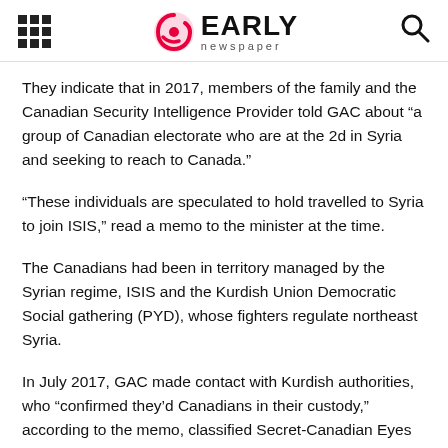EARLY newspaper
They indicate that in 2017, members of the family and the Canadian Security Intelligence Provider told GAC about “a group of Canadian electorate who are at the 2d in Syria and seeking to reach to Canada.”
“These individuals are speculated to hold travelled to Syria to join ISIS,” read a memo to the minister at the time.
The Canadians had been in territory managed by the Syrian regime, ISIS and the Kurdish Union Democratic Social gathering (PYD), whose fighters regulate northeast Syria.
In July 2017, GAC made contact with Kurdish authorities, who “confirmed they’d Canadians in their custody,” according to the memo, classified Secret-Canadian Eyes Most efficient.